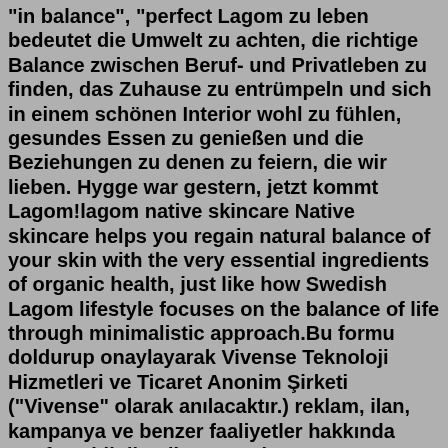"in balance", "perfect Lagom zu leben bedeutet die Umwelt zu achten, die richtige Balance zwischen Beruf- und Privatleben zu finden, das Zuhause zu entrümpeln und sich in einem schönen Interior wohl zu fühlen, gesundes Essen zu genießen und die Beziehungen zu denen zu feiern, die wir lieben. Hygge war gestern, jetzt kommt Lagom!lagom native skincare Native skincare helps you regain natural balance of your skin with the very essential ingredients of organic health, just like how Swedish Lagom lifestyle focuses on the balance of life through minimalistic approach.Bu formu doldurup onaylayarak Vivense Teknoloji Hizmetleri ve Ticaret Anonim Şirketi ("Vivense" olarak anılacaktır.) reklam, ilan, kampanya ve benzer faaliyetler hakkında tarafıma bilgilendirme yapılmasına ve tarafıma bu bağlamda ticari elektronik ileti gönderilmesine (telefon, sms, mms, e-posta veya diğer şekillerde) 6563 Sayılı Kanun uyarınca onay verdiğimi kabul ve beyan ...Lagom may be a big part of Scandinavian-inspired designs, but it can make an